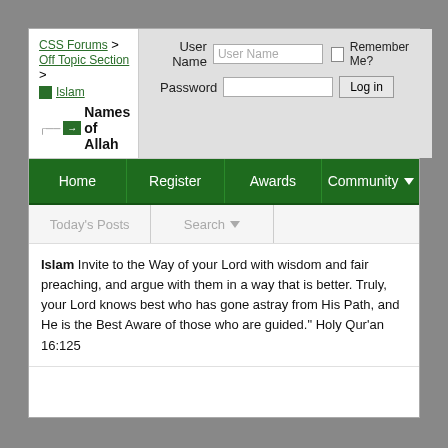CSS Forums > Off Topic Section > Islam — Names of Allah
[Figure (screenshot): Web forum login area with User Name and Password fields, Remember Me checkbox, and Log in button]
[Figure (screenshot): Green navigation bar with Home, Register, Awards, Community (dropdown) items, and sub-navigation with Today's Posts and Search]
Islam Invite to the Way of your Lord with wisdom and fair preaching, and argue with them in a way that is better. Truly, your Lord knows best who has gone astray from His Path, and He is the Best Aware of those who are guided." Holy Qur'an 16:125